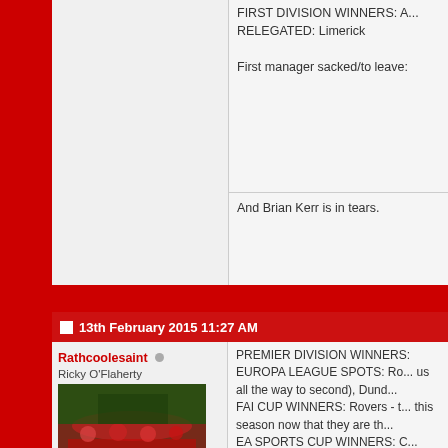FIRST DIVISION WINNERS: A...
RELEGATED: Limerick

First manager sacked/to leave:
And Brian Kerr is in tears.
13th February 2015 11:27 AM
Rathcoolesaint
Ricky O'Flaherty
Join Date: Jul 2010
Location: Co. Laois
Posts: 1,090
Thanks: 240
Thanked 353 Times in 177 Posts
PREMIER DIVISION WINNERS: EUROPA LEAGUE SPOTS: Ro... us all the way to second), Dund... FAI CUP WINNERS: Rovers - t... this season now that they are th... EA SPORTS CUP WINNERS: C... SETANTA CUP WINNERS: Dun... LEINSTER SENIOR CUP WINN... FIRST DIVISION WINNERS: U... RELEGATED: Bohes

First manager sacked/to leave: